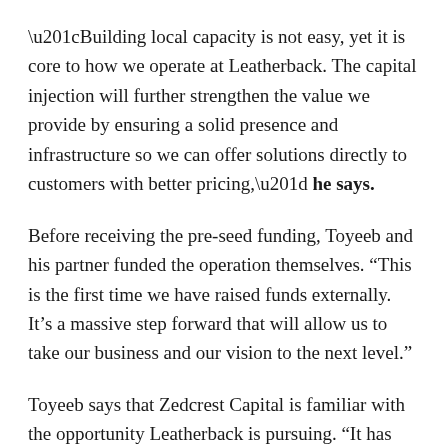“Building local capacity is not easy, yet it is core to how we operate at Leatherback. The capital injection will further strengthen the value we provide by ensuring a solid presence and infrastructure so we can offer solutions directly to customers with better pricing,” he says.
Before receiving the pre-seed funding, Toyeeb and his partner funded the operation themselves. “This is the first time we have raised funds externally. It’s a massive step forward that will allow us to take our business and our vision to the next level.”
Toyeeb says that Zedcrest Capital is familiar with the opportunity Leatherback is pursuing. “It has seen